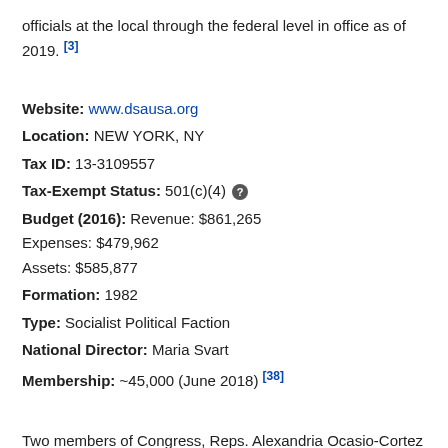officials at the local through the federal level in office as of 2019. [3]
Website: www.dsausa.org
Location: NEW YORK, NY
Tax ID: 13-3109557
Tax-Exempt Status: 501(c)(4)
Budget (2016): Revenue: $861,265 Expenses: $479,962 Assets: $585,877
Formation: 1982
Type: Socialist Political Faction
National Director: Maria Svart
Membership: ~45,000 (June 2018) [38]
Two members of Congress, Reps. Alexandria Ocasio-Cortez (D-NY) and Rashida Tlaib (D-MI), identify as members of the faction. [4] The organization endorsed self-described socialist